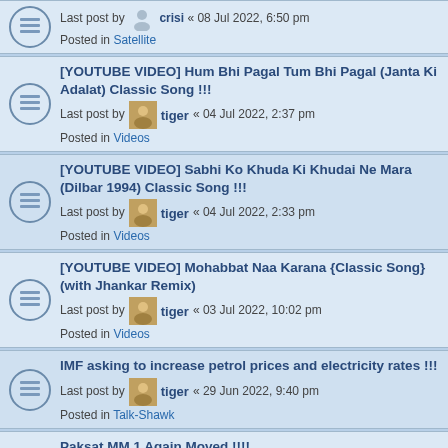Last post by crisi « 08 Jul 2022, 6:50 pm
Posted in Satellite
[YOUTUBE VIDEO] Hum Bhi Pagal Tum Bhi Pagal (Janta Ki Adalat) Classic Song !!!
Last post by tiger « 04 Jul 2022, 2:37 pm
Posted in Videos
[YOUTUBE VIDEO] Sabhi Ko Khuda Ki Khudai Ne Mara (Dilbar 1994) Classic Song !!!
Last post by tiger « 04 Jul 2022, 2:33 pm
Posted in Videos
[YOUTUBE VIDEO] Mohabbat Naa Karana {Classic Song} (with Jhankar Remix)
Last post by tiger « 03 Jul 2022, 10:02 pm
Posted in Videos
IMF asking to increase petrol prices and electricity rates !!!
Last post by tiger « 29 Jun 2022, 9:40 pm
Posted in Talk-Shawk
Paksat MM 1 Again Moved !!!!
Last post by tiger « 26 Jun 2022, 10:39 pm
Posted in Talk-Shawk